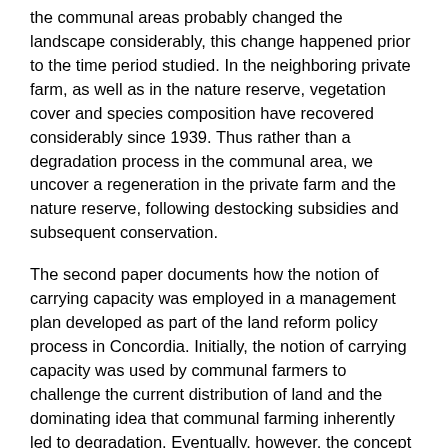the communal areas probably changed the landscape considerably, this change happened prior to the time period studied. In the neighboring private farm, as well as in the nature reserve, vegetation cover and species composition have recovered considerably since 1939. Thus rather than a degradation process in the communal area, we uncover a regeneration in the private farm and the nature reserve, following destocking subsidies and subsequent conservation.
The second paper documents how the notion of carrying capacity was employed in a management plan developed as part of the land reform policy process in Concordia. Initially, the notion of carrying capacity was used by communal farmers to challenge the current distribution of land and the dominating idea that communal farming inherently led to degradation. Eventually, however, the concept contributed to depoliticize rangeland policy by rendering the relationship between land and livestock a question of numbers and not a question of how much land communal farmers have access to.
The third paper discusses the use of photography in fenceline contrast studies within ecological science. Fence-line contrast study is a methodology used in ecology to compare to areas (divided by a fence). This way one may assume that other